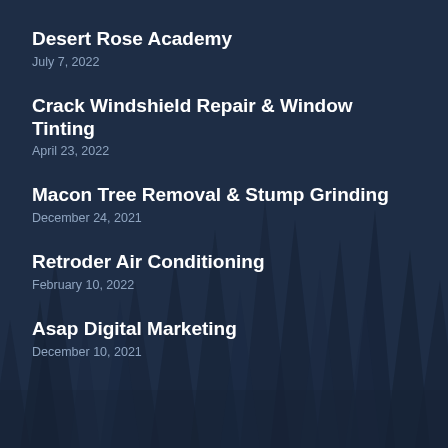Desert Rose Academy
July 7, 2022
Crack Windshield Repair & Window Tinting
April 23, 2022
Macon Tree Removal & Stump Grinding
December 24, 2021
Retroder Air Conditioning
February 10, 2022
Asap Digital Marketing
December 10, 2021